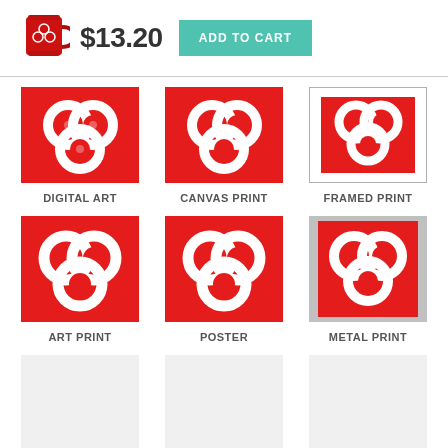[Figure (screenshot): Red mug product image with circular logo design]
$13.20
ADD TO CART
[Figure (illustration): Red square with white circular rings design - Digital Art thumbnail]
DIGITAL ART
[Figure (illustration): Red square with white circular rings design - Canvas Print thumbnail]
CANVAS PRINT
[Figure (illustration): Framed print with red square and white circular rings design]
FRAMED PRINT
[Figure (illustration): Red square with white circular rings design - Art Print thumbnail]
ART PRINT
[Figure (illustration): Red square with white circular rings design - Poster thumbnail]
POSTER
[Figure (illustration): Metal print with red background and white circular rings design]
METAL PRINT
ACRYLIC PRINT
WOOD PRINT
GREETING CARD